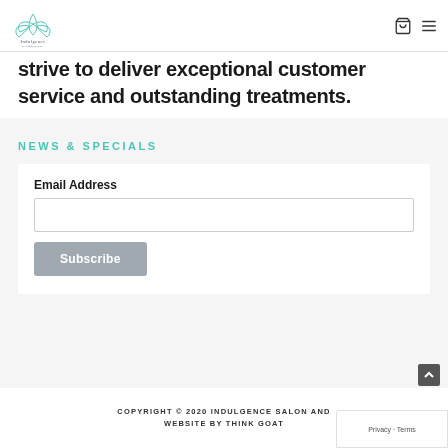Indulgence Salon & Spa — navigation header with logo, cart icon, and menu icon
strive to deliver exceptional customer service and outstanding treatments.
NEWS & SPECIALS
Email Address
Subscribe
COPYRIGHT © 2020 INDULGENCE SALON AND WEBSITE BY THINK GOAT